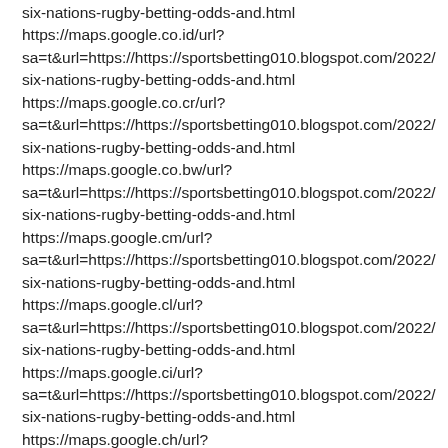six-nations-rugby-betting-odds-and.html
https://maps.google.co.id/url?
sa=t&url=https://https://sportsbetting010.blogspot.com/2022/
six-nations-rugby-betting-odds-and.html
https://maps.google.co.cr/url?
sa=t&url=https://https://sportsbetting010.blogspot.com/2022/
six-nations-rugby-betting-odds-and.html
https://maps.google.co.bw/url?
sa=t&url=https://https://sportsbetting010.blogspot.com/2022/
six-nations-rugby-betting-odds-and.html
https://maps.google.cm/url?
sa=t&url=https://https://sportsbetting010.blogspot.com/2022/
six-nations-rugby-betting-odds-and.html
https://maps.google.cl/url?
sa=t&url=https://https://sportsbetting010.blogspot.com/2022/
six-nations-rugby-betting-odds-and.html
https://maps.google.ci/url?
sa=t&url=https://https://sportsbetting010.blogspot.com/2022/
six-nations-rugby-betting-odds-and.html
https://maps.google.ch/url?
sa=t&url=https://https://sportsbetting010.blogspot.com/2022/